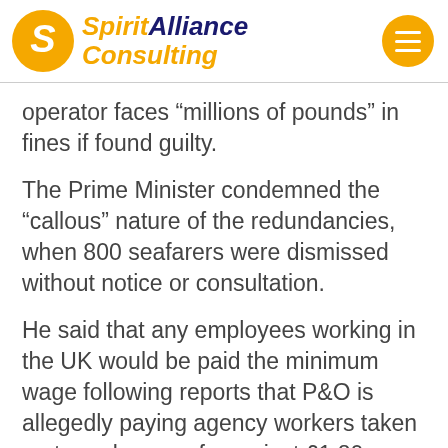Spirit Alliance Consulting
operator faces “millions of pounds” in fines if found guilty.
The Prime Minister condemned the “callous” nature of the redundancies, when 800 seafarers were dismissed without notice or consultation.
He said that any employees working in the UK would be paid the minimum wage following reports that P&O is allegedly paying agency workers taken on to replace seafarers just £1.80 an hour.
It came as Peter Hebblethwaite, chief